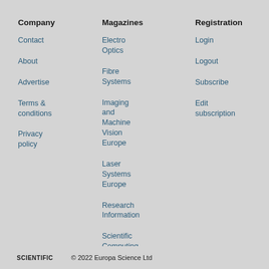Company
Contact
About
Advertise
Terms & conditions
Privacy policy
Magazines
Electro Optics
Fibre Systems
Imaging and Machine Vision Europe
Laser Systems Europe
Research Information
Scientific Computing World
Registration
Login
Logout
Subscribe
Edit subscription
SCIENTIFIC   © 2022 Europa Science Ltd